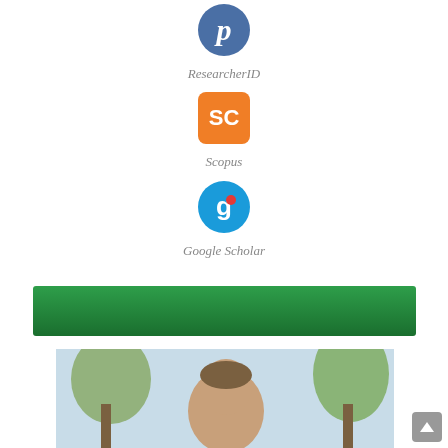[Figure (logo): ResearcherID circular blue logo with italic lowercase p]
ResearcherID
[Figure (logo): Scopus orange rounded-square logo with white SC letters]
Scopus
[Figure (logo): Google Scholar blue circular logo with g symbol]
Google Scholar
[Figure (illustration): Green gradient banner/bar]
[Figure (photo): Partial photo of a person outdoors with trees in background]